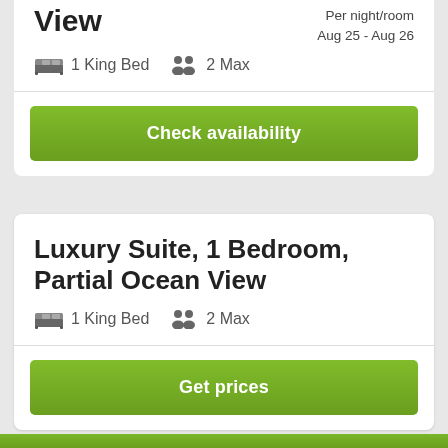View
Per night/room
Aug 25 - Aug 26
1 King Bed   2 Max
Check availability
Luxury Suite, 1 Bedroom, Partial Ocean View
1 King Bed   2 Max
Get prices